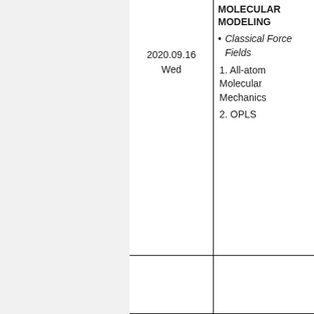| Date | Topic | Resources |
| --- | --- | --- |
| 2020.09.16 Wed | MOLECULAR MODELING
• Classical Force Fields
1. All-atom Molecular Mechanics
2. OPLS | 1. Ac... Dex... mp4...
2. C... Jam... |
|  |  |  |